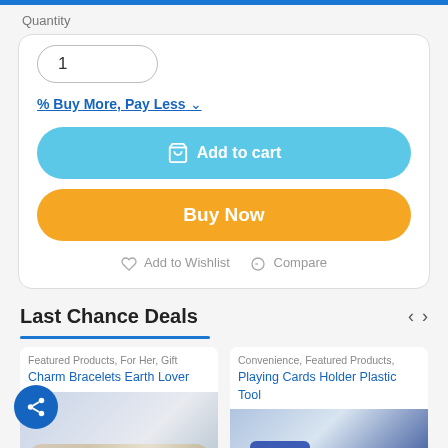Quantity
1
% Buy More, Pay Less ▾
🛒 Add to cart
Buy Now
♡ Add to Wishlist  ⊙ Compare
Last Chance Deals
Featured Products, For Her, Gift
Charm Bracelets Earth Lover
[Figure (photo): Bracelets on a wrist against white fabric background]
Convenience, Featured Products,
Playing Cards Holder Plastic Tool
[Figure (photo): Blue plastic playing card holder tool]